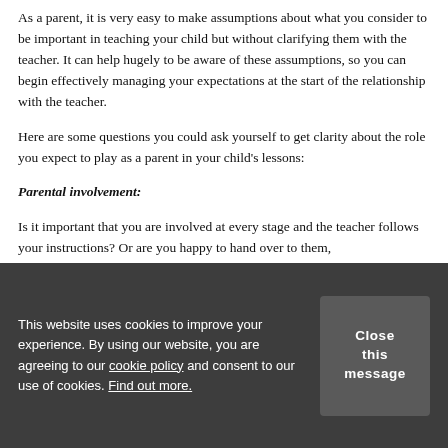As a parent, it is very easy to make assumptions about what you consider to be important in teaching your child but without clarifying them with the teacher. It can help hugely to be aware of these assumptions, so you can begin effectively managing your expectations at the start of the relationship with the teacher.
Here are some questions you could ask yourself to get clarity about the role you expect to play as a parent in your child's lessons:
Parental involvement:
Is it important that you are involved at every stage and the teacher follows your instructions? Or are you happy to hand over to them,
This website uses cookies to improve your experience. By using our website, you are agreeing to our cookie policy and consent to our use of cookies. Find out more.